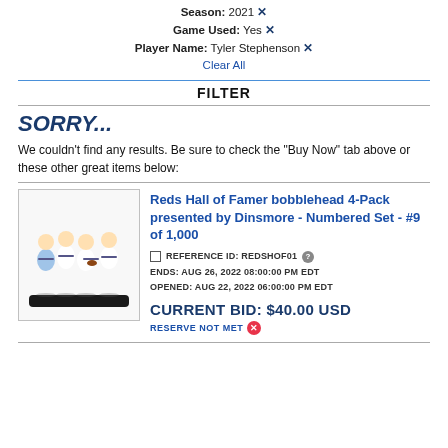Season: 2021 ✕ Game Used: Yes ✕ Player Name: Tyler Stephenson ✕
Clear All
FILTER
SORRY...
We couldn't find any results. Be sure to check the "Buy Now" tab above or these other great items below:
Reds Hall of Famer bobblehead 4-Pack presented by Dinsmore - Numbered Set - #9 of 1,000
REFERENCE ID: REDSHOF01   ENDS: AUG 26, 2022 08:00:00 PM EDT   OPENED: AUG 22, 2022 06:00:00 PM EDT
CURRENT BID: $40.00 USD
RESERVE NOT MET